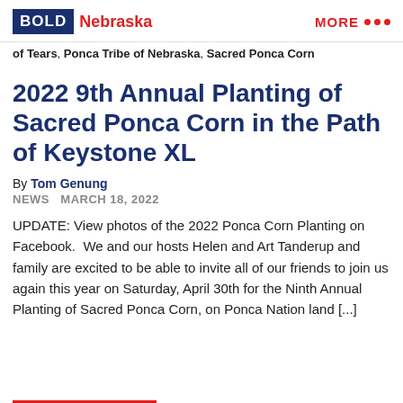BOLD Nebraska  MORE •••
of Tears, Ponca Tribe of Nebraska, Sacred Ponca Corn
2022 9th Annual Planting of Sacred Ponca Corn in the Path of Keystone XL
By Tom Genung
NEWS    MARCH 18, 2022
UPDATE: View photos of the 2022 Ponca Corn Planting on Facebook.  We and our hosts Helen and Art Tanderup and family are excited to be able to invite all of our friends to join us again this year on Saturday, April 30th for the Ninth Annual Planting of Sacred Ponca Corn, on Ponca Nation land [...]